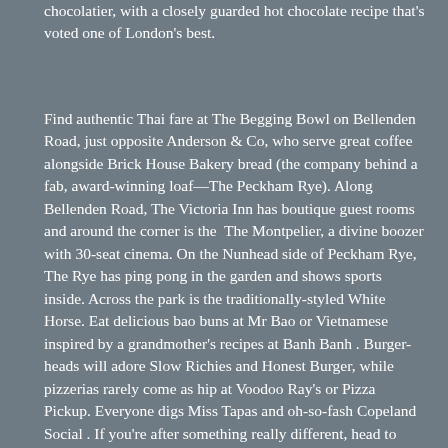chocolatier, with a closely guarded hot chocolate recipe that's voted one of London's best.
Find authentic Thai fare at The Begging Bowl on Bellenden Road, just opposite Anderson & Co, who serve great coffee alongside Brick House Bakery bread (the company behind a fab, award-winning loaf—The Peckham Rye). Along Bellenden Road, The Victoria Inn has boutique guest rooms and around the corner is the  The Montpelier, a divine boozer with 30-seat cinema. On the Nunhead side of Peckham Rye, The Rye has ping pong in the garden and shows sports inside. Across the park is the traditionally-styled White Horse. Eat delicious bao buns at Mr Bao or Vietnamese inspired by a grandmother's recipes at Banh Banh . Burger-heads will adore Slow Richies and Honest Burger, while pizzerias rarely come as hip at Voodoo Ray's or Pizza Pickup. Everyone digs Miss Tapas and oh-so-fash Copeland Social . If you're after something really different, head to YADAS or the significantly ace Peckham Bazaar. The redevelopment of Queen's Road has attracted the best new local businesses...